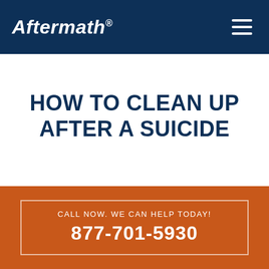Aftermath®
HOW TO CLEAN UP AFTER A SUICIDE
If you're having to deal with the tragedy of losing a loved one to suicide, you may also have to deal with the clea…
CALL NOW. WE CAN HELP TODAY!
877-701-5930